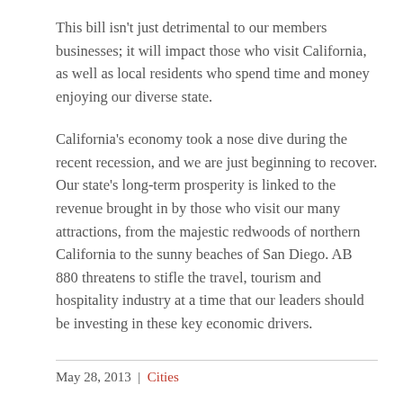This bill isn't just detrimental to our members businesses; it will impact those who visit California, as well as local residents who spend time and money enjoying our diverse state.
California's economy took a nose dive during the recent recession, and we are just beginning to recover. Our state's long-term prosperity is linked to the revenue brought in by those who visit our many attractions, from the majestic redwoods of northern California to the sunny beaches of San Diego. AB 880 threatens to stifle the travel, tourism and hospitality industry at a time that our leaders should be investing in these key economic drivers.
May 28, 2013  |  Cities